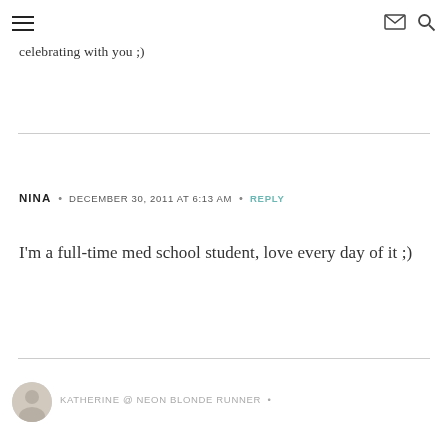≡  ✉ 🔍
celebrating with you ;)
NINA  •  DECEMBER 30, 2011 AT 6:13 AM  •  REPLY
I'm a full-time med school student, love every day of it ;)
KATHERINE @ NEON BLONDE RUNNER  •